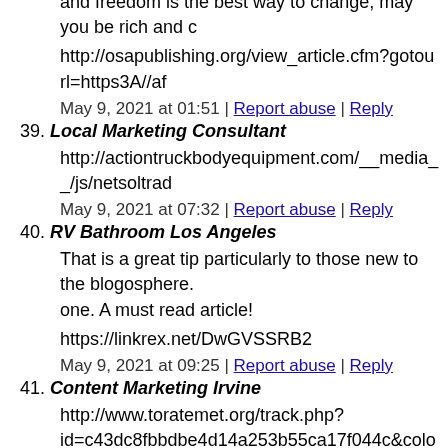and freedom is the best way to change, may you be rich and c...
http://osapublishing.org/view_article.cfm?gotourl=https3A//af...
May 9, 2021 at 01:51 | Report abuse | Reply
39. Local Marketing Consultant
http://actiontruckbodyequipment.com/__media__/js/netsoltrad...
May 9, 2021 at 07:32 | Report abuse | Reply
40. RV Bathroom Los Angeles
That is a great tip particularly to those new to the blogosphere. one. A must read article!
https://linkrex.net/DwGVSSRB2
May 9, 2021 at 09:25 | Report abuse | Reply
41. Content Marketing Irvine
http://www.toratemet.org/track.php?id=c43dc8fbbdbe4d14a253b55ca17f044c&color=212121&url...
May 9, 2021 at 11:05 | Report abuse | Reply
42. Social Media Marketing Agency Near Me